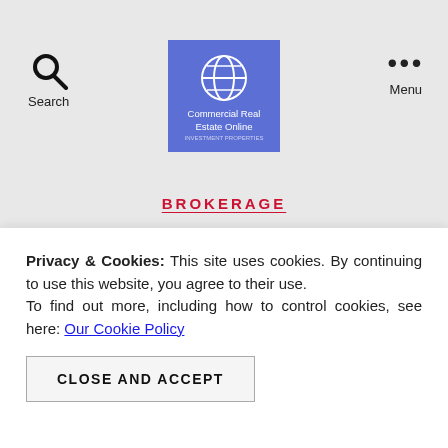[Figure (logo): Commercial Real Estate Online logo — blue square with white globe icon and white text]
Search   Menu
BROKERAGE
Real Estate Agents – List and Sell More of the
Privacy & Cookies: This site uses cookies. By continuing to use this website, you agree to their use. To find out more, including how to control cookies, see here: Our Cookie Policy
CLOSE AND ACCEPT